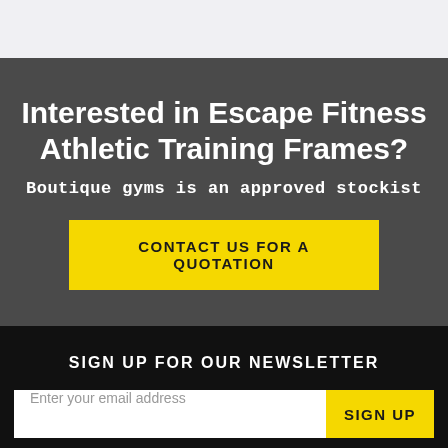Interested in Escape Fitness Athletic Training Frames?
Boutique gyms is an approved stockist
CONTACT US FOR A QUOTATION
SIGN UP FOR OUR NEWSLETTER
Enter your email address
SIGN UP